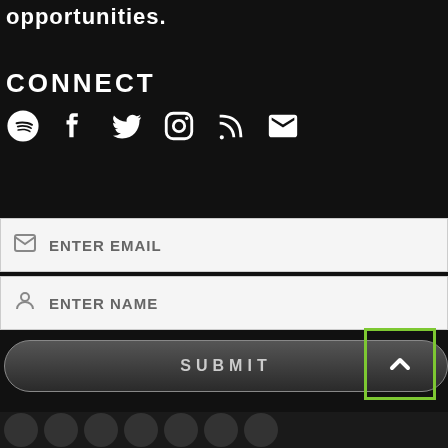opportunities.
CONNECT
[Figure (infographic): Social media icons: Spotify, Facebook, Twitter, Instagram, RSS feed, Email]
[Figure (screenshot): Email input field with envelope icon and placeholder text ENTER EMAIL]
[Figure (screenshot): Name input field with person icon and placeholder text ENTER NAME]
[Figure (screenshot): SUBMIT button, dark rounded rectangle]
[Figure (other): Back to top button, green outlined square with upward chevron]
[Figure (infographic): Bottom navigation bar with circular icons]